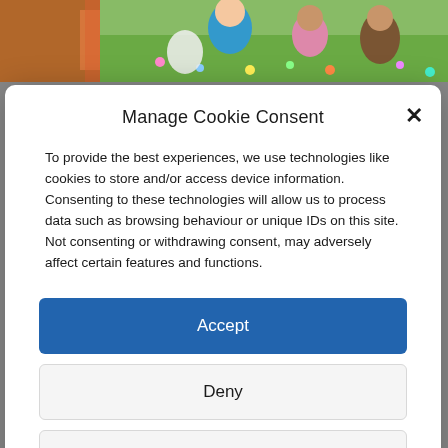[Figure (photo): Children playing outdoors on grass, one wearing a blue shirt, partially visible at the top of the page]
Manage Cookie Consent
To provide the best experiences, we use technologies like cookies to store and/or access device information. Consenting to these technologies will allow us to process data such as browsing behaviour or unique IDs on this site. Not consenting or withdrawing consent, may adversely affect certain features and functions.
Accept
Deny
View preferences
Cookie Policy   Privacy & Cookie Policy, Terms of Use